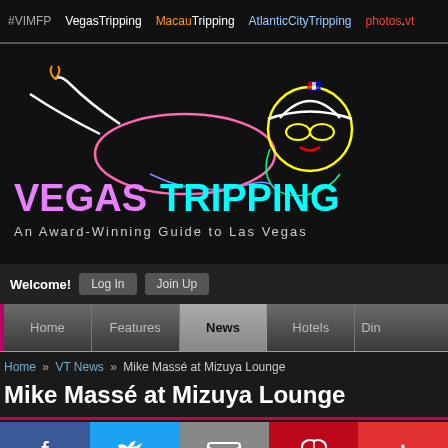#VIMFP  VegasTripping  MacauTripping  AtlanticCityTripping  photos.vt
[Figure (logo): VegasTripping logo: neon-style illustration of a reclining figure with cowboy hat and sunglasses on dark background, with colorful VEGASTRIPPING text and tagline 'An Award-Winning Guide to Las Vegas']
Welcome!  Log In  Join Up
Home  Features  News  Hotels  Di...
Home » VT News » Mike Massé at Mizuya Lounge
Mike Massé at Mizuya Lounge
[Figure (infographic): Social sharing bar with Facebook, Twitter, Email, Pinterest, and More (+) buttons]